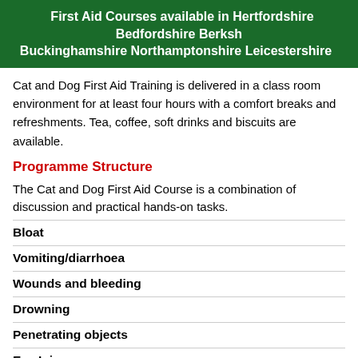First Aid Courses available in Hertfordshire Bedfordshire Berkshire Buckinghamshire Northamptonshire Leicestershire
Cat and Dog First Aid Training is delivered in a class room environment for at least four hours with a comfort breaks and refreshments. Tea, coffee, soft drinks and biscuits are available.
Programme Structure
The Cat and Dog First Aid Course is a combination of discussion and practical hands-on tasks.
Bloat
Vomiting/diarrhoea
Wounds and bleeding
Drowning
Penetrating objects
Eye Injury
Burns